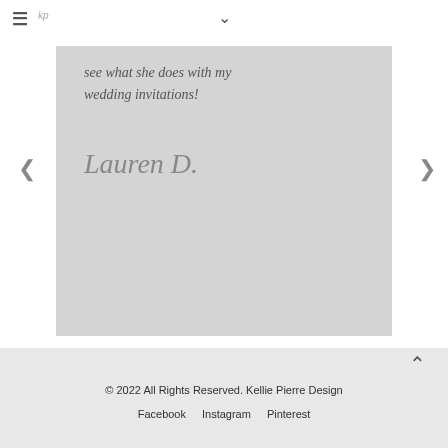≡  [logo]  ∨
[Figure (screenshot): Testimonial card with grey background showing italic quote text 'see what she does with my wedding invitations!' and a cursive signature 'Lauren D.' with left and right navigation arrows on either side.]
see what she does with my wedding invitations!
Lauren D.
© 2022 All Rights Reserved. Kellie Pierre Design
Facebook   Instagram   Pinterest